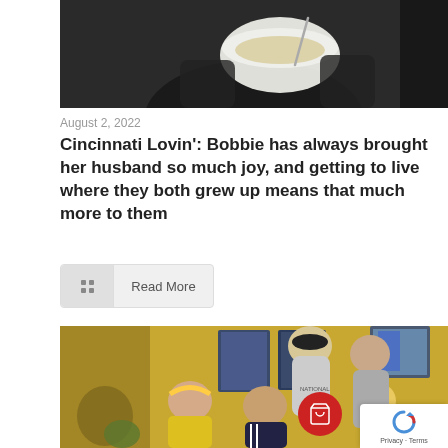[Figure (photo): Top portion of a photo showing a person in a dark top holding a white bowl with food and a fork]
August 2, 2022
Cincinnati Lovin': Bobbie has always brought her husband so much joy, and getting to live where they both grew up means that much more to them
Read More
[Figure (photo): Group photo of four teenagers/young people smiling in a restaurant with yellow walls and framed posters in the background]